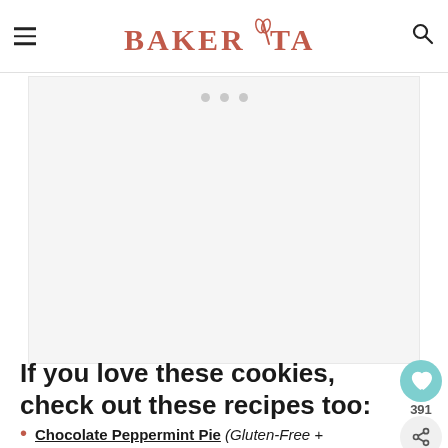BAKERITA
[Figure (other): Advertisement placeholder box with three gray dots indicating a loading/ad area]
If you love these cookies, check out these recipes too:
Chocolate Peppermint Pie (Gluten-Free + Vegan)